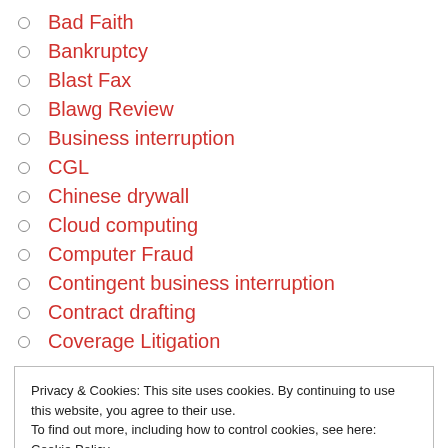Bad Faith
Bankruptcy
Blast Fax
Blawg Review
Business interruption
CGL
Chinese drywall
Cloud computing
Computer Fraud
Contingent business interruption
Contract drafting
Coverage Litigation
Privacy & Cookies: This site uses cookies. By continuing to use this website, you agree to their use.
To find out more, including how to control cookies, see here: Cookie Policy
Denial of service